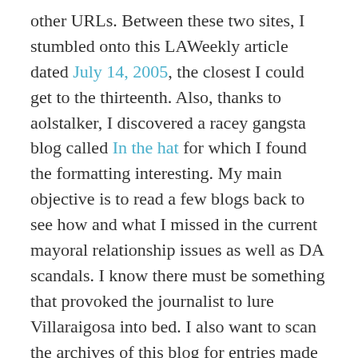other URLs. Between these two sites, I stumbled onto this LAWeekly article dated July 14, 2005, the closest I could get to the thirteenth. Also, thanks to aolstalker, I discovered a racey gangsta blog called In the hat for which I found the formatting interesting. My main objective is to read a few blogs back to see how and what I missed in the current mayoral relationship issues as well as DA scandals. I know there must be something that provoked the journalist to lure Villaraigosa into bed. I also want to scan the archives of this blog for entries made the week of July 13, 2005.
That's all I have really done today, besides created a second cassettte tape of the news at 6 o'clock. Does